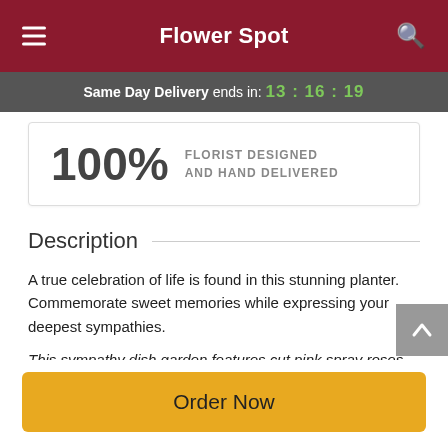Flower Spot
Same Day Delivery ends in: 13:16:19
100% FLORIST DESIGNED AND HAND DELIVERED
Description
A true celebration of life is found in this stunning planter. Commemorate sweet memories while expressing your deepest sympathies.
This sympathy dish garden features cut pink spray roses, assorted green plants, and a soft pink bow in decorative
Order Now